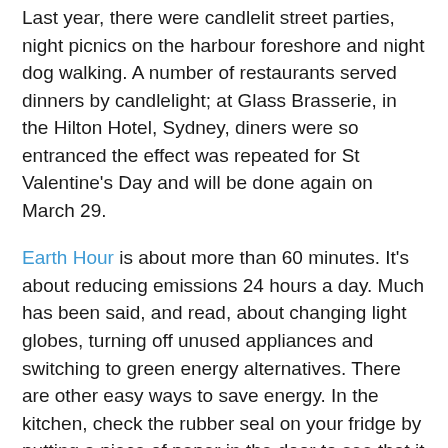Last year, there were candlelit street parties, night picnics on the harbour foreshore and night dog walking. A number of restaurants served dinners by candlelight; at Glass Brasserie, in the Hilton Hotel, Sydney, diners were so entranced the effect was repeated for St Valentine's Day and will be done again on March 29.
Earth Hour is about more than 60 minutes. It's about reducing emissions 24 hours a day. Much has been said, and read, about changing light globes, turning off unused appliances and switching to green energy alternatives. There are other easy ways to save energy. In the kitchen, check the rubber seal on your fridge by putting a piece of paper in the door to see that it is held firmly. Cut vegetables into smaller pieces to speed up the cooking process.
Avoid gas flames spilling up the sides of pots - turn the burner down to keep flames on the bottom. If cooking in the oven, avoid opening the door unnecessarily. In the laundry, only wash with a full load, or reduce the water level settings. Wash in cold water. Use a clothes line rather than a dryer whenever possible. In the living room, buy a fan or, even better, install a ceiling fan (it's far cheaper to run).